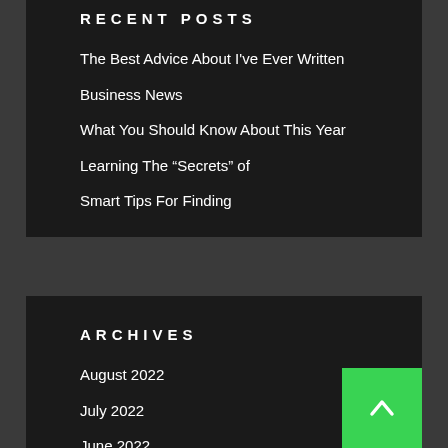RECENT POSTS
The Best Advice About I've Ever Written
Business News
What You Should Know About This Year
Learning The “Secrets” of
Smart Tips For Finding
ARCHIVES
August 2022
July 2022
June 2022